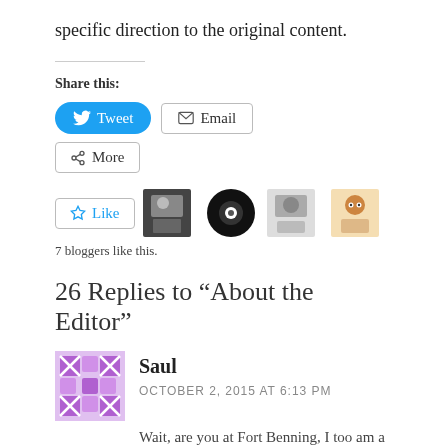specific direction to the original content.
Share this:
Tweet   Email   More
Like   7 bloggers like this.
26 Replies to “About the Editor”
Saul
OCTOBER 2, 2015 AT 6:13 PM
Wait, are you at Fort Benning, I too am a